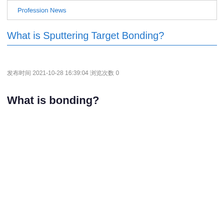Profession News
What is Sputtering Target Bonding?
发布时间 2021-10-28 16:39:04 浏览次数 0
What is bonding?